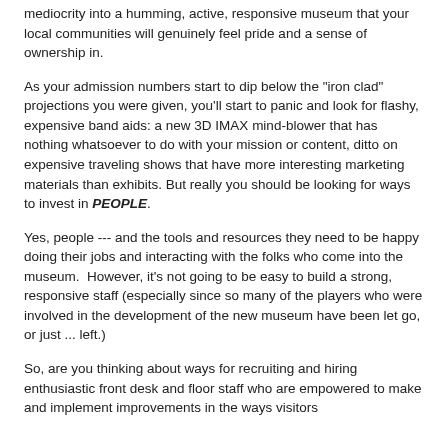mediocrity into a humming, active, responsive museum that your local communities will genuinely feel pride and a sense of ownership in.
As your admission numbers start to dip below the "iron clad" projections you were given, you'll start to panic and look for flashy, expensive band aids: a new 3D IMAX mind-blower that has nothing whatsoever to do with your mission or content, ditto on expensive traveling shows that have more interesting marketing materials than exhibits. But really you should be looking for ways to invest in PEOPLE.
Yes, people --- and the tools and resources they need to be happy doing their jobs and interacting with the folks who come into the museum.  However, it's not going to be easy to build a strong, responsive staff (especially since so many of the players who were involved in the development of the new museum have been let go, or just ... left.)
So, are you thinking about ways for recruiting and hiring enthusiastic front desk and floor staff who are empowered to make and implement improvements in the ways visitors